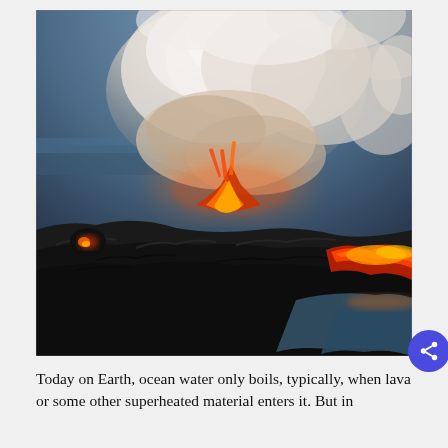[Figure (photo): Dramatic photograph of lava flowing into the ocean at twilight, creating massive white steam plumes with orange-red glowing lava visible along dark rocky coastline. The sky is a deep blue-grey color.]
Today on Earth, ocean water only boils, typically, when lava or some other superheated material enters it. But in